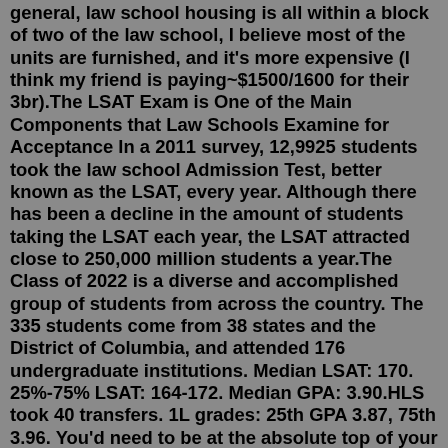general, law school housing is all within a block of two of the law school, I believe most of the units are furnished, and it's more expensive (I think my friend is paying~$1500/1600 for their 3br).The LSAT Exam is One of the Main Components that Law Schools Examine for Acceptance In a 2011 survey, 12,9925 students took the law school Admission Test, better known as the LSAT, every year. Although there has been a decline in the amount of students taking the LSAT each year, the LSAT attracted close to 250,000 million students a year.The Class of 2022 is a diverse and accomplished group of students from across the country. The 335 students come from 38 states and the District of Columbia, and attended 176 undergraduate institutions. Median LSAT: 170. 25%-75% LSAT: 164-172. Median GPA: 3.90.HLS took 40 transfers. 1L grades: 25th GPA 3.87, 75th 3.96. You'd need to be at the absolute top of your class to stand a chance. SLS took 8 transfers and their stats are not published. Do not plan on transferring. It's even more of a crapshoot than applying regularly as a